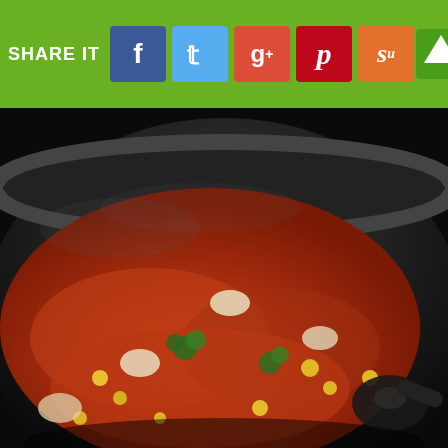SHARE IT [Facebook] [Twitter] [Google+] [Pinterest] [StumbleUpon] [Up arrow]
[Figure (photo): A black slow cooker / crock pot filled with a tomato-based vegetable soup containing corn, broccoli, onions, and other vegetables. A dark spoon or ladle is visible on the right side. The soup has a rich red-orange color.]